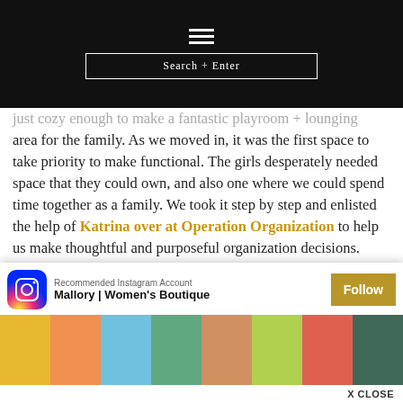≡ Search + Enter
just cozy enough to make a fantastic playroom + lounging area for the family. As we moved in, it was the first space to take priority to make functional. The girls desperately needed space that they could own, and also one where we could spend time together as a family. We took it step by step and enlisted the help of Katrina over at Operation Organization to help us make thoughtful and purposeful organization decisions. Looking back at how functional the space is day to day for us, I can tell you that it's made all of the difference, especially in a room like the p... detai... some... how... like t...
[Figure (screenshot): Recommended Instagram Account overlay: Instagram icon, text 'Recommended Instagram Account / Mallory | Women's Boutique', Follow button in gold, and a strip of family/beach photos below. X CLOSE button at bottom right.]